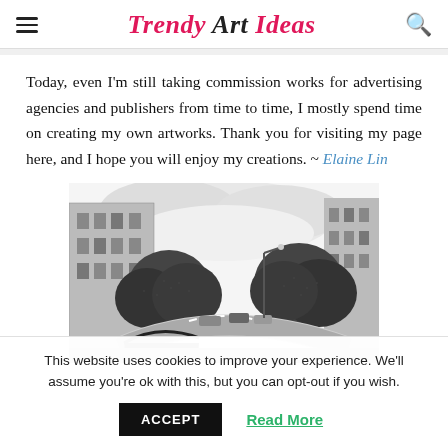Trendy Art Ideas
Today, even I'm still taking commission works for advertising agencies and publishers from time to time, I mostly spend time on creating my own artworks. Thank you for visiting my page here, and I hope you will enjoy my creations. ~ Elaine Lin
[Figure (illustration): Black and white detailed pen-and-ink or pencil illustration of an urban cityscape with buildings on the left, dense foliage/trees on the right, a road with cars in the middle, and dramatic cloudy sky above.]
This website uses cookies to improve your experience. We'll assume you're ok with this, but you can opt-out if you wish.
ACCEPT   Read More